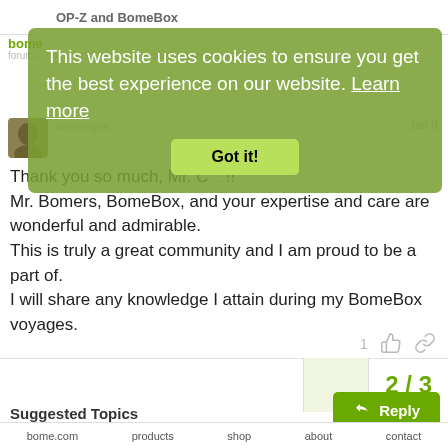OP-Z and BomeBox
[Figure (screenshot): Cookie consent overlay with green background: 'This website uses cookies to ensure you get the best experience on our website. Learn more' and a 'Got it!' button]
Thank you so much, Mr. C…!
Mr. Bomers, BomeBox, and your expertise and care are wonderful and admirable.
This is truly a great community and I am proud to be a part of.
I will share any knowledge I attain during my BomeBox voyages.
1
2 / 3
Reply
Suggested Topics
bome.com   products   shop   about   contact